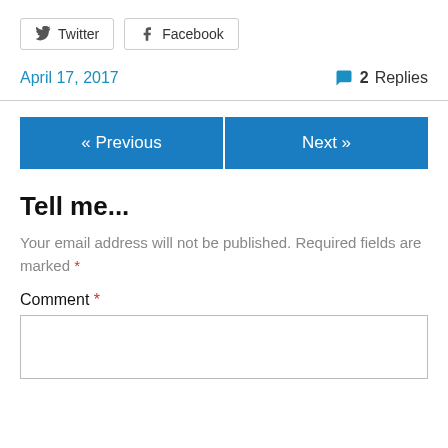[Figure (other): Twitter and Facebook share buttons]
April 17, 2017    💬 2 Replies
« Previous   Next »
Tell me...
Your email address will not be published. Required fields are marked *
Comment *